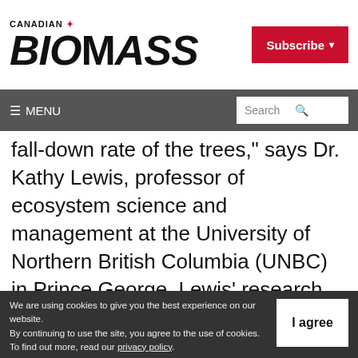CANADIAN BIOMASS
fall-down rate of the trees,” says Dr. Kathy Lewis, professor of ecosystem science and management at the University of Northern British Columbia (UNBC) in Prince George. Lewis’ research shows that
We are using cookies to give you the best experience on our website. By continuing to use the site, you agree to the use of cookies. To find out more, read our privacy policy.